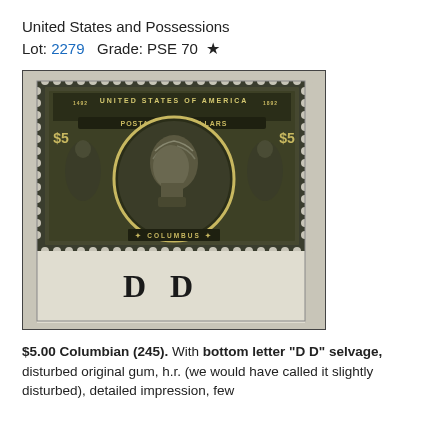United States and Possessions
Lot: 2279   Grade: PSE 70  ★
[Figure (photo): Photograph of a $5.00 Columbian stamp (Scott #245) with bottom selvage showing plate letters 'D D'. The stamp features a portrait of Columbus in a central oval, with allegorical figures on either side, '$5' denominations in upper corners, 'UNITED STATES OF AMERICA' across the top, 'POSTAGE FIVE DOLLARS' on a banner, and 'COLUMBUS' at the bottom. The perforated bottom edge shows the attached sheet margin with large bold letters 'D D'.]
$5.00 Columbian (245). With bottom letter "D D" selvage, disturbed original gum, h.r. (we would have called it slightly disturbed), detailed impression, few